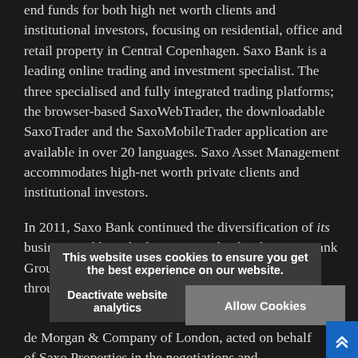end funds for both high net worth clients and institutional investors, focusing on residential, office and retail property in Central Copenhagen. Saxo Bank is a leading online trading and investment specialist. The three specialised and fully integrated trading platforms; the browser-based SaxoWebTrader, the downloadable SaxoTrader and the SaxoMobileTrader application are available in over 20 languages. Saxo Asset Management accommodates high-net worth private clients and institutional investors.
In 2011, Saxo Bank continued the diversification of its business and launched Saxo Privatbank. The Saxo Bank Group is headquartered in Copenhagen with offices throughout Europe, Asia, Middle East and Australia.
de Morgan & Company of London, acted on behalf of Saxo Properties in the negotiations and Resolution Property was represented by Whitmarsh Holt Young along with local advisers' including Plesner and Sadolin &